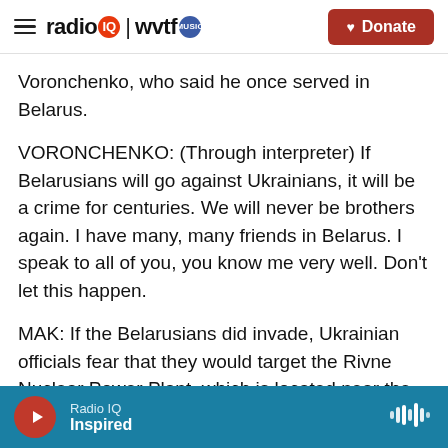radio IQ | wvtf MUSIC — Donate
Voronchenko, who said he once served in Belarus.
VORONCHENKO: (Through interpreter) If Belarusians will go against Ukrainians, it will be a crime for centuries. We will never be brothers again. I have many, many friends in Belarus. I speak to all of you, you know me very well. Don't let this happen.
MAK: If the Belarusians did invade, Ukrainian officials fear that they would target the Rivne Nuclear Power Plant, which is located near the border. The director general of that plant, Pavlo
Radio IQ — Inspired